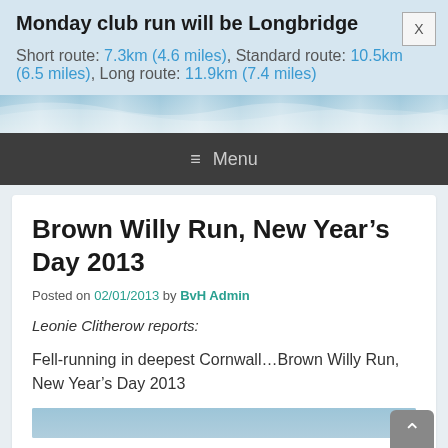Monday club run will be Longbridge
Short route: 7.3km (4.6 miles), Standard route: 10.5km (6.5 miles), Long route: 11.9km (7.4 miles)
[Figure (illustration): Decorative wave/water graphic strip]
Menu
Brown Willy Run, New Year's Day 2013
Posted on 02/01/2013 by BvH Admin
Leonie Clitherow reports:
Fell-running in deepest Cornwall…Brown Willy Run, New Year's Day 2013
[Figure (photo): Partial photo visible at bottom of page]